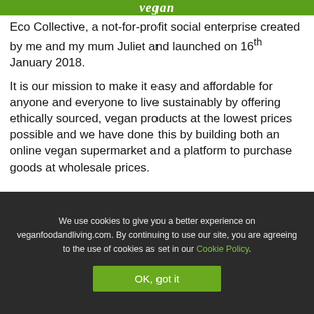vegan
Eco Collective, a not-for-profit social enterprise created by me and my mum Juliet and launched on 16th January 2018.
It is our mission to make it easy and affordable for anyone and everyone to live sustainably by offering ethically sourced, vegan products at the lowest prices possible and we have done this by building both an online vegan supermarket and a platform to purchase goods at wholesale prices.
We use cookies to give you a better experience on veganfoodandliving.com. By continuing to use our site, you are agreeing to the use of cookies as set in our Cookie Policy.
OK, got it